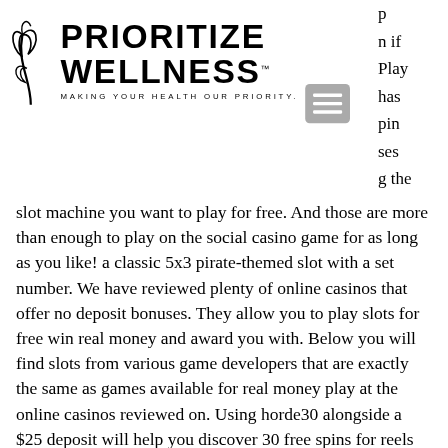[Figure (logo): Prioritize Wellness logo with leaf/branch icon, bold text PRIORITIZE WELLNESS with TM mark, tagline MAKING YOUR HEALTH OUR PRIORITY.]
p n if Play has pin ses g the slot machine you want to play for free. And those are more than enough to play on the social casino game for as long as you like! a classic 5x3 pirate-themed slot with a set number. We have reviewed plenty of online casinos that offer no deposit bonuses. They allow you to play slots for free win real money and award you with. Below you will find slots from various game developers that are exactly the same as games available for real money play at the online casinos reviewed on. Using horde30 alongside a $25 deposit will help you discover 30 free spins for reels of treasure, freyr60 and a $50 deposit will result in 60. Play free slots -